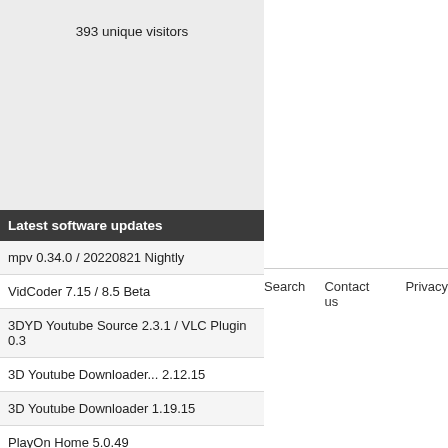393 unique visitors
Latest software updates
mpv 0.34.0 / 20220821 Nightly
VidCoder 7.15 / 8.5 Beta
3DYD Youtube Source 2.3.1 / VLC Plugin 0.3
3D Youtube Downloader... 2.12.15
3D Youtube Downloader 1.19.15
PlayOn Home 5.0.49
Vidiot 0.3.36
4KVideo Downloader 4.21.3
Search   Contact us   Privacy